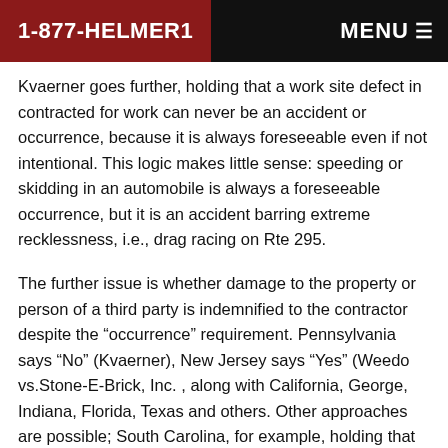1-877-HELMER1   MENU
Kvaerner goes further, holding that a work site defect in contracted for work can never be an accident or occurrence, because it is always foreseeable even if not intentional. This logic makes little sense: speeding or skidding in an automobile is always a foreseeable occurrence, but it is an accident barring extreme recklessness, i.e., drag racing on Rte 295.
The further issue is whether damage to the property or person of a third party is indemnified to the contractor despite the “occurrence” requirement. Pennsylvania says “No” (Kvaerner), New Jersey says “Yes” (Weedo vs.Stone-E-Brick, Inc. , along with California, George, Indiana, Florida, Texas and others. Other approaches are possible; South Carolina, for example, holding that “occurrence” is ambiguous and must be construed against the insurer, ruled that damage to third parties caused by the contractor’s work qualifies as an occurrence.